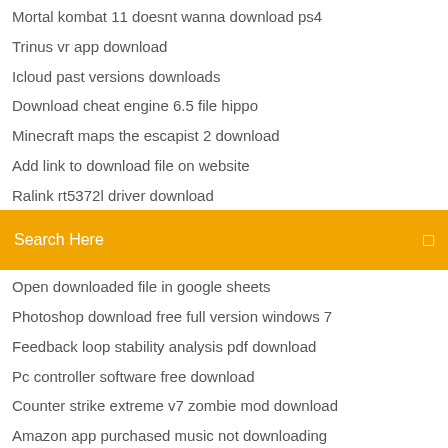Mortal kombat 11 doesnt wanna download ps4
Trinus vr app download
Icloud past versions downloads
Download cheat engine 6.5 file hippo
Minecraft maps the escapist 2 download
Add link to download file on website
Ralink rt5372l driver download
[Figure (screenshot): Orange search bar with 'Search Here' placeholder text and a small square icon on the right]
Open downloaded file in google sheets
Photoshop download free full version windows 7
Feedback loop stability analysis pdf download
Pc controller software free download
Counter strike extreme v7 zombie mod download
Amazon app purchased music not downloading
Energy hits 2018 torrent download
Quake 2 pak 1 and 0 files download
Frank edward under the canopy mp4 download
Error downloading ffrk pc